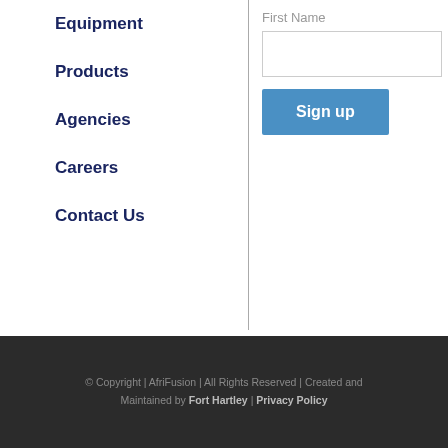Equipment
Products
Agencies
Careers
Contact Us
First Name
[Figure (screenshot): Text input field for First Name]
[Figure (screenshot): Sign up button in blue]
© Copyright | AfriFusion | All Rights Reserved | Created and Maintained by Fort Hartley | Privacy Policy